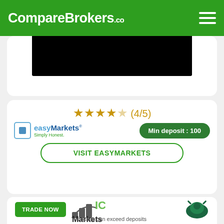CompareBrokers.co
[Figure (screenshot): Black image strip from a previous broker card, partially visible]
[Figure (infographic): easyMarkets broker card with 4/5 star rating, min deposit 100, and Visit EasyMarkets button]
★★★★☆ (4/5)
Min deposit : 100
VISIT EASYMARKETS
[Figure (logo): IC Markets logo with bull icon and TRADE NOW button]
Losses can exceed deposits